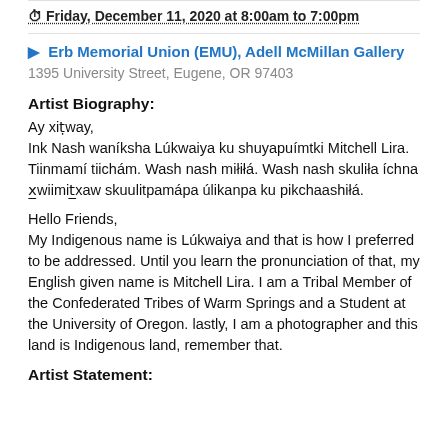Friday, December 11, 2020 at 8:00am to 7:00pm
Erb Memorial Union (EMU), Adell McMillan Gallery
1395 University Street, Eugene, OR 97403
Artist Biography:
Ay xitway,
Ink Nash waníksha Lúkwaiya ku shuyapuimtki Mitchell Lira. Tiinmamí tiichám. Wash nash miłiłá. Wash nash skuliła íchna xwiimitxaw skuulitpamápa úlikanpa ku pikchaashiłá.
Hello Friends,
My Indigenous name is Lúkwaiya and that is how I preferred to be addressed. Until you learn the pronunciation of that, my English given name is Mitchell Lira. I am a Tribal Member of the Confederated Tribes of Warm Springs and a Student at the University of Oregon. lastly, I am a photographer and this land is Indigenous land, remember that.
Artist Statement: